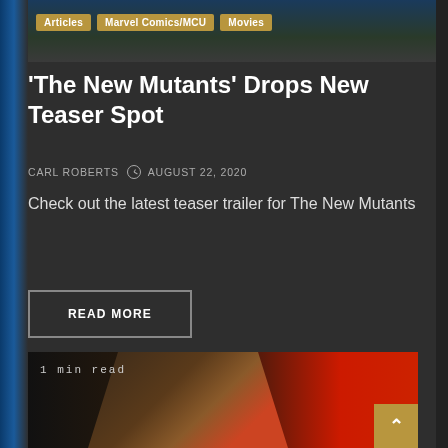[Figure (screenshot): Top portion of article page showing dark bluish image background with category tags: Articles, Marvel Comics/MCU, Movies]
Articles
Marvel Comics/MCU
Movies
‘The New Mutants’ Drops New Teaser Spot
CARL ROBERTS  ◉ AUGUST 22, 2020
Check out the latest teaser trailer for The New Mutants
READ MORE
[Figure (photo): Movie poster image showing a man's face split half in shadow black, half in red with red paint splatter behind him. Text overlay reads '1 min read'. A gold scroll-to-top button with upward caret is in bottom right.]